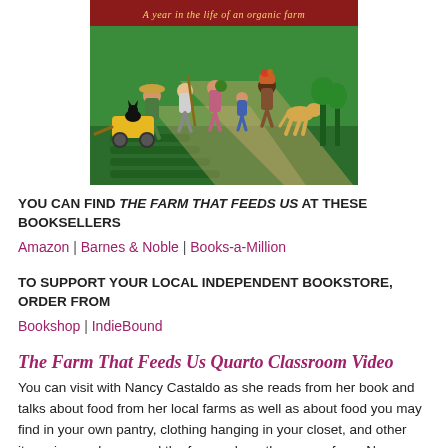[Figure (illustration): Book cover of 'The Farm That Feeds Us' showing a dark red banner with the subtitle 'A year in the life of an organic farm' in yellow italic text, and an illustrated scene of diverse people including farmers walking along a farm path with crops and a black cat in a yellow cart, surrounded by green fields.]
YOU CAN FIND THE FARM THAT FEEDS US AT THESE BOOKSELLERS
Amazon | Barnes & Noble | Books-a-Million
TO SUPPORT YOUR LOCAL INDEPENDENT BOOKSTORE, ORDER FROM
Bookshop | IndieBound
The Farm That Feeds Us Quarto Classroom Video
You can visit with Nancy Castaldo as she reads from her book and talks about food from her local farms as well as about food you may find in your own pantry, clothing hanging in your closet, and other items in your house and the farms where they came from. Nancy invites kids to go on a scavenger hunt in